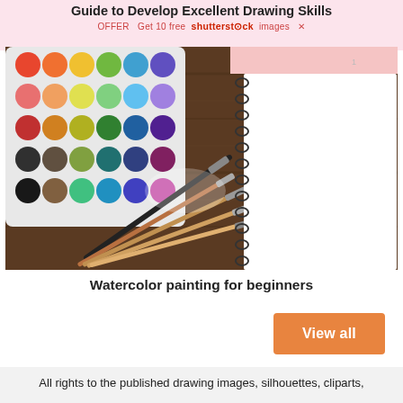Guide to Develop Excellent Drawing Skills
OFFER  Get 10 free shutterstock images
[Figure (photo): Watercolor paint palette with many colorful circular paint wells, several paintbrushes, and an open spiral-bound notebook on a wooden table surface.]
Watercolor painting for beginners
View all
All rights to the published drawing images, silhouettes, cliparts,